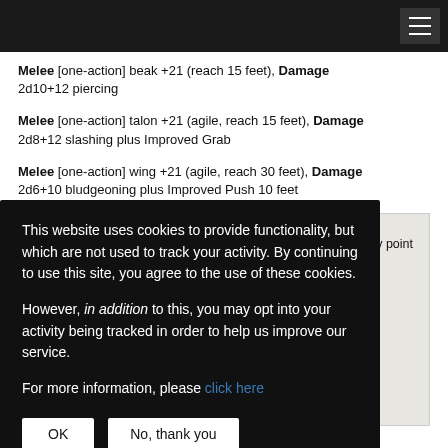Navigation bar with hamburger menu
Melee [one-action] beak +21 (reach 15 feet), Damage 2d10+12 piercing
Melee [one-action] talon +21 (agile, reach 15 feet), Damage 2d8+12 slashing plus Improved Grab
Melee [one-action] wing +21 (agile, reach 30 feet), Damage 2d6+10 bludgeoning plus Improved Push 10 feet
Flying Strafe [two-actions] The roc Flies up to its Speed. At any point during this movement, it can target a creature with normal ... bonus to hit ... ed or ... e it has a ... or both of its ... it.
This website uses cookies to provide functionality, but which are not used to track your activity. By continuing to use this site, you agree to the use of these cookies.

However, in addition to this, you may opt into your activity being tracked in order to help us improve our service.

For more information, please click here